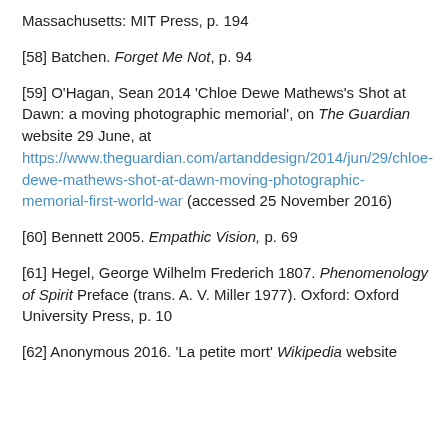Massachusetts: MIT Press, p. 194
[58] Batchen. Forget Me Not, p. 94
[59] O'Hagan, Sean 2014 'Chloe Dewe Mathews's Shot at Dawn: a moving photographic memorial', on The Guardian website 29 June, at https://www.theguardian.com/artanddesign/2014/jun/29/chloe-dewe-mathews-shot-at-dawn-moving-photographic-memorial-first-world-war (accessed 25 November 2016)
[60] Bennett 2005. Empathic Vision, p. 69
[61] Hegel, George Wilhelm Frederich 1807. Phenomenology of Spirit Preface (trans. A. V. Miller 1977). Oxford: Oxford University Press, p. 10
[62] Anonymous 2016. 'La petite mort' Wikipedia website